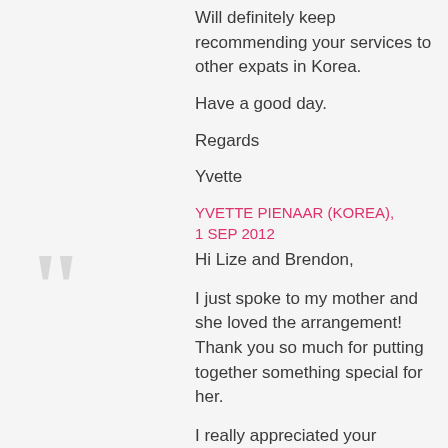Will definitely keep recommending your services to other expats in Korea.

Have a good day.

Regards

Yvette
YVETTE PIENAAR (KOREA), 1 SEP 2012
Hi Lize and Brendon,

I just spoke to my mother and she loved the arrangement! Thank you so much for putting together something special for her.

I really appreciated your responsiveness and excellent service. I spoke to a number of florists before coming to you and your